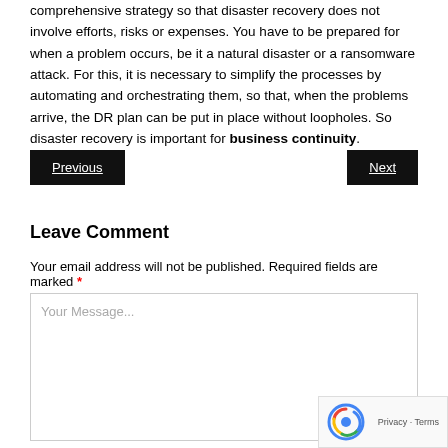comprehensive strategy so that disaster recovery does not involve efforts, risks or expenses. You have to be prepared for when a problem occurs, be it a natural disaster or a ransomware attack. For this, it is necessary to simplify the processes by automating and orchestrating them, so that, when the problems arrive, the DR plan can be put in place without loopholes. So disaster recovery is important for business continuity.
Previous | Next
Leave Comment
Your email address will not be published. Required fields are marked *
Your Message...